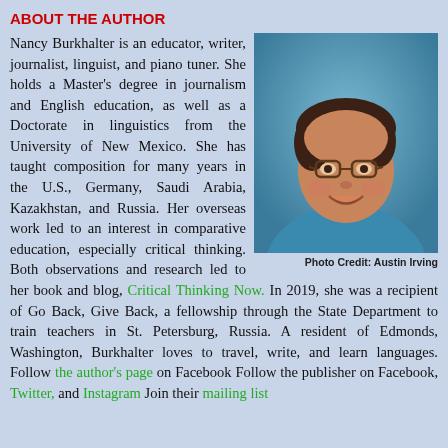ABOUT THE AUTHOR
[Figure (photo): Photo of Nancy Burkhalter, a woman with curly dark hair and glasses, smiling, wearing a teal/blue shirt. Blue background.]
Photo Credit: Austin Irving
Nancy Burkhalter is an educator, writer, journalist, linguist, and piano tuner. She holds a Master's degree in journalism and English education, as well as a Doctorate in linguistics from the University of New Mexico. She has taught composition for many years in the U.S., Germany, Saudi Arabia, Kazakhstan, and Russia. Her overseas work led to an interest in comparative education, especially critical thinking. Both observations and research led to her book and blog, Critical Thinking Now. In 2019, she was a recipient of Go Back, Give Back, a fellowship through the State Department to train teachers in St. Petersburg, Russia. A resident of Edmonds, Washington, Burkhalter loves to travel, write, and learn languages. Follow the author's page on Facebook Follow the publisher on Facebook, Twitter, and Instagram Join their mailing list